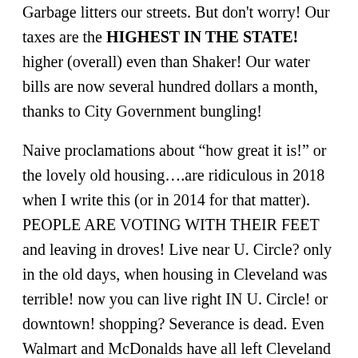Garbage litters our streets. But don't worry! Our taxes are the HIGHEST IN THE STATE! higher (overall) even than Shaker! Our water bills are now several hundred dollars a month, thanks to City Government bungling!
Naive proclamations about “how great it is!” or the lovely old housing….are ridiculous in 2018 when I write this (or in 2014 for that matter). PEOPLE ARE VOTING WITH THEIR FEET and leaving in droves! Live near U. Circle? only in the old days, when housing in Cleveland was terrible! now you can live right IN U. Circle! or downtown! shopping? Severance is dead. Even Walmart and McDonalds have all left Cleveland Heights, can’t make a profit — theft — bad employees.